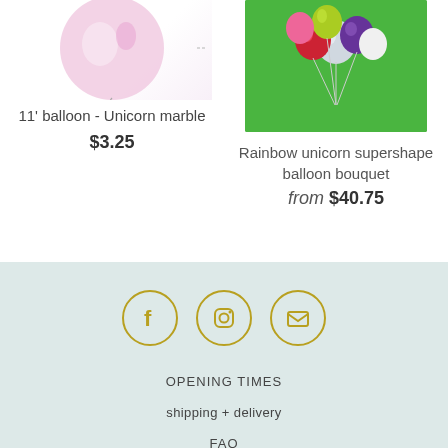[Figure (photo): 11 inch unicorn marble balloon product image with confetti triangles decoration on left side]
11' balloon - Unicorn marble
$3.25
[Figure (photo): Rainbow unicorn supershape balloon bouquet on green background]
Rainbow unicorn supershape balloon bouquet
from $40.75
[Figure (infographic): Social media icons: Facebook, Instagram, Email - gold circle outlines]
OPENING TIMES
shipping + delivery
FAQ